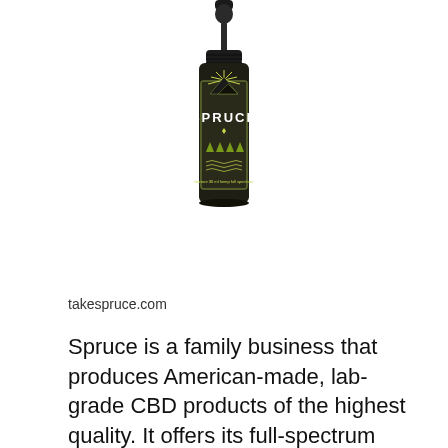[Figure (photo): A dark amber glass dropper bottle with a black dropper top. The label reads 'SPRUCE' in bold white letters on a dark green/black background with an illustration of mountains and spruce trees with sunrays above. The bottle contains CBD oil.]
takespruce.com
Spruce is a family business that produces American-made, lab-grade CBD products of the highest quality. It offers its full-spectrum CBD oil in multiple strengths. The 750 mg strength provides 25 mg of CBD per serving, and comes in a natural peppermint flavor.